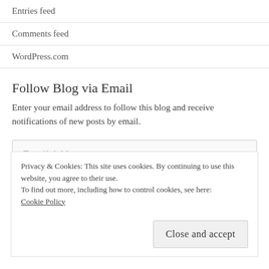Entries feed
Comments feed
WordPress.com
Follow Blog via Email
Enter your email address to follow this blog and receive notifications of new posts by email.
[Figure (other): Email address input field with placeholder text 'Email Address']
Privacy & Cookies: This site uses cookies. By continuing to use this website, you agree to their use.
To find out more, including how to control cookies, see here:
Cookie Policy
Close and accept